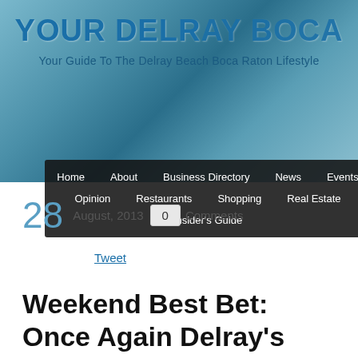YOUR DELRAY BOCA
Your Guide To The Delray Beach Boca Raton Lifestyle
Home | About | Business Directory | News | Events | Opinion | Restaurants | Shopping | Real Estate | Insider's Guide
28 August, 2013  0  Comments
Tweet
Weekend Best Bet: Once Again Delray's